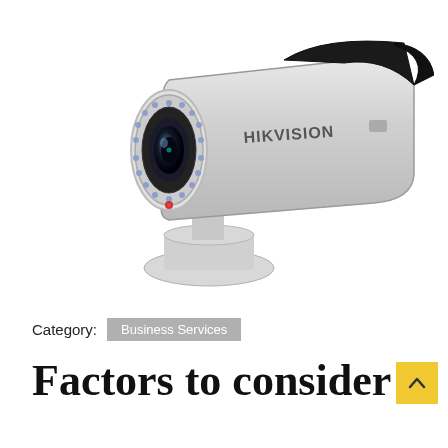[Figure (photo): A Hikvision bullet-style CCTV security camera mounted on a bracket, shown at an angle. The camera is white/grey with a black lens ring, IR LEDs visible around the lens, and the Hikvision brand name on the body.]
Category:  Business Services
Factors to consider